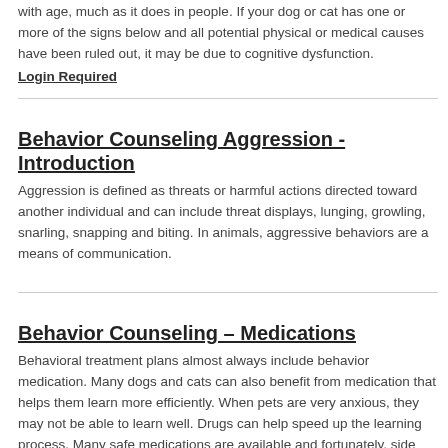with age, much as it does in people. If your dog or cat has one or more of the signs below and all potential physical or medical causes have been ruled out, it may be due to cognitive dysfunction.
Login Required
Behavior Counseling Aggression - Introduction
Aggression is defined as threats or harmful actions directed toward another individual and can include threat displays, lunging, growling, snarling, snapping and biting. In animals, aggressive behaviors are a means of communication.
Behavior Counseling – Medications
Behavioral treatment plans almost always include behavior medication. Many dogs and cats can also benefit from medication that helps them learn more efficiently. When pets are very anxious, they may not be able to learn well. Drugs can help speed up the learning process. Many safe medications are available and fortunately, side effects are not common. It is important to have a behavioral and physical health assessment before giving medication.
Login Required